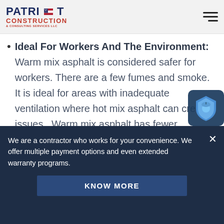PATRIOT CONSTRUCTION & CONSULTING SERVICES LLC
Ideal For Workers And The Environment: Warm mix asphalt is considered safer for workers. There are a few fumes and smoke. It is ideal for areas with inadequate ventilation where hot mix asphalt can create issues. Warm mix asphalt has fewer emissions and gets used for paving in areas with bad air quality. It helps
We are a contractor who works for your convenience. We offer multiple payment options and even extended warranty programs.